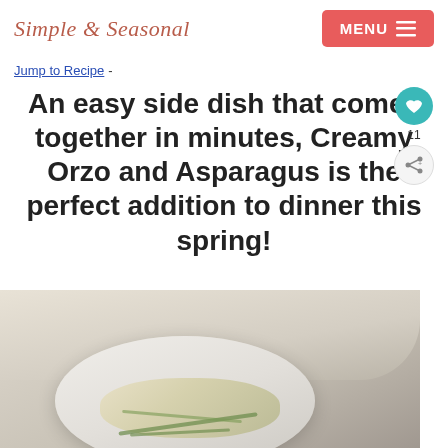Simple & Seasonal | MENU
Jump to Recipe -
An easy side dish that comes together in minutes, Creamy Orzo and Asparagus is the perfect addition to dinner this spring!
[Figure (photo): A bowl of creamy orzo and asparagus dish on a beige linen cloth, viewed from above/side angle]